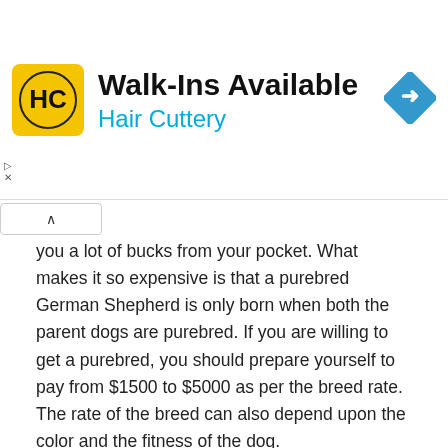[Figure (screenshot): Hair Cuttery advertisement banner with yellow HC logo, 'Walk-Ins Available' headline, 'Hair Cuttery' subheading in blue, and a blue diamond navigation icon on the right.]
you a lot of bucks from your pocket. What makes it so expensive is that a purebred German Shepherd is only born when both the parent dogs are purebred. If you are willing to get a purebred, you should prepare yourself to pay from $1500 to $5000 as per the breed rate. The rate of the breed can also depend upon the color and the fitness of the dog.
However, a local breeder can give it to you from $1000 to $2000. And you can also adopt an adult purebred from an adoption center for below $1000.
Dont Miss: Is My German Shepherd Too Skinny
Read Also: